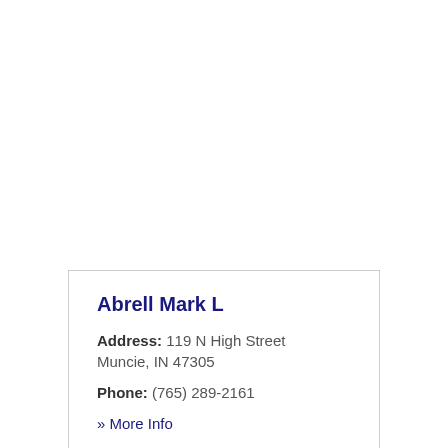Abrell Mark L
Address: 119 N High Street Muncie, IN 47305
Phone: (765) 289-2161
» More Info